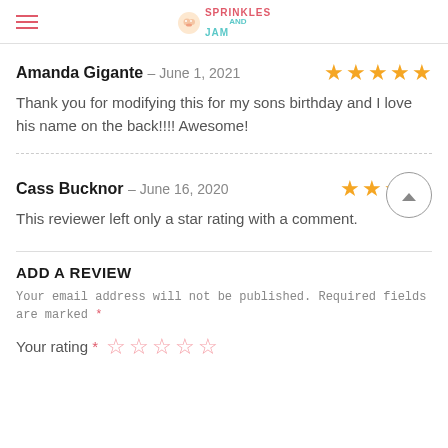Sprinkles and Jam
Amanda Gigante – June 1, 2021 ★★★★★
Thank you for modifying this for my sons birthday and I love his name on the back!!!! Awesome!
Cass Bucknor – June 16, 2020 ★★★★☆
This reviewer left only a star rating with a comment.
ADD A REVIEW
Your email address will not be published. Required fields are marked *
Your rating *